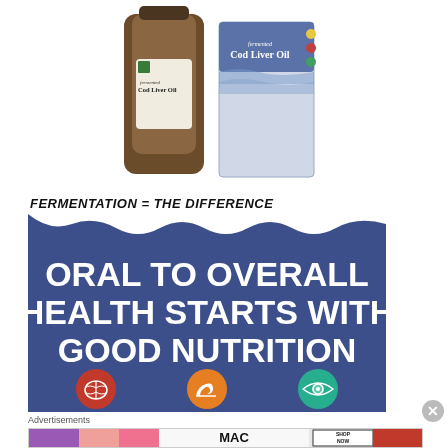[Figure (photo): Fermented Cod Liver Oil product photo showing a dark glass bottle and blue product box]
FERMENTATION = THE DIFFERENCE
[Figure (infographic): Blue banner infographic reading 'ORAL TO OVERALL HEALTH STARTS WITH GOOD NUTRITION' with three circular icons: red brain icon, orange flexing arm icon, teal eye icon]
Advertisements
[Figure (photo): MAC cosmetics advertisement showing colorful lipsticks with SHOP NOW text]